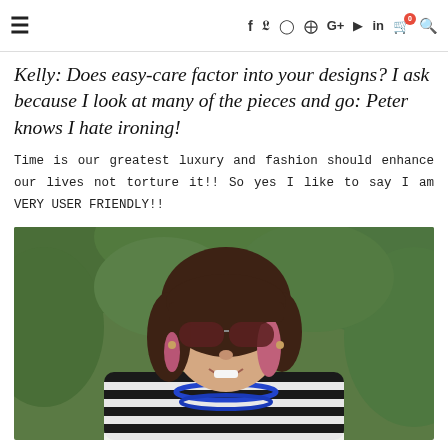≡  f  𝕏  ⊙  ⊕  G+  ▶  in  🛒  🔍
Kelly: Does easy-care factor into your designs? I ask because I look at many of the pieces and go: Peter knows I hate ironing!
Time is our greatest luxury and fashion should enhance our lives not torture it!! So yes I like to say I am VERY USER FRIENDLY!!
[Figure (photo): Portrait photo of a smiling woman with shoulder-length dark hair with pink highlights, wearing sunglasses, a black and white striped sleeveless top, blue beaded necklace, and teal scarf, outdoors in front of green foliage.]